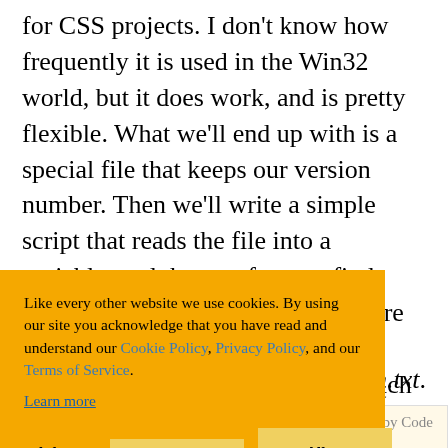for CSS projects. I don't know how frequently it is used in the Win32 world, but it does work, and is pretty flexible. What we'll end up with is a special file that keeps our version number. Then we'll write a simple script that reads the file into a variable, and then performs a find-and-replace in our simple.xml where we'll have referenced the version number using a variable name, which will then be replaced. To accomplish this we'll use sed, a unix program that ... n this find and
[Figure (infographic): Cookie consent banner with orange background. Text: 'Like every other website we use cookies. By using our site you acknowledge that you have read and understand our Cookie Policy, Privacy Policy, and our Terms of Service. Learn more'. Buttons: 'Ask me later', 'Decline', 'Allow cookies'.]
led, version.txt.
Verify it's contents by using the cat command: